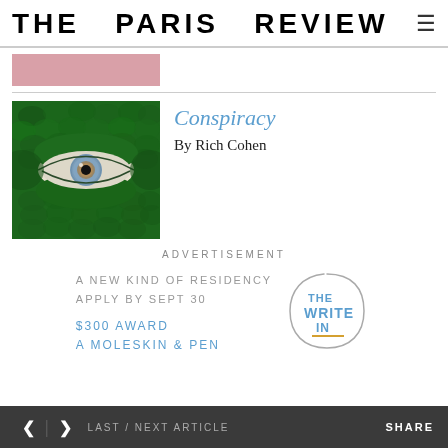THE PARIS REVIEW
[Figure (photo): Pink/rose colored partial image strip at top of content area]
[Figure (photo): Close-up photo of an eye with dramatic green scaly/reptilian makeup surrounding it, with a blue-gray iris]
Conspiracy
By Rich Cohen
ADVERTISEMENT
A NEW KIND OF RESIDENCY
APPLY BY SEPT 30
[Figure (logo): THE WRITE IN circular logo with a hand-drawn circle and gold underline]
$300 AWARD
A MOLESKIN & PEN
< > LAST / NEXT ARTICLE   SHARE